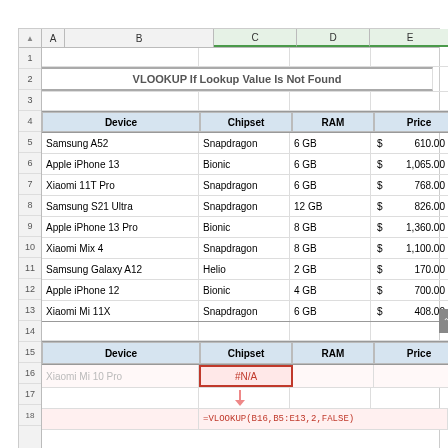[Figure (screenshot): Excel spreadsheet screenshot showing a VLOOKUP tutorial. Title row: 'VLOOKUP If Lookup Value Is Not Found'. First data table (rows 4-13) with columns Device, Chipset, RAM, Price listing 9 smartphone models. Second table (rows 15-16) showing Device, Chipset, RAM, Price headers with Xiaomi Mi 10 Pro in row 16 returning #N/A error in Chipset column with red border. A downward arrow and partial formula =VLOOKUP(B16,B5:E13,2,FALSE) visible at bottom.]
VLOOKUP If Lookup Value Is Not Found
| Device | Chipset | RAM | Price |
| --- | --- | --- | --- |
| Samsung A52 | Snapdragon | 6 GB | $ 610.00 |
| Apple iPhone 13 | Bionic | 6 GB | $ 1,065.00 |
| Xiaomi 11T Pro | Snapdragon | 6 GB | $ 768.00 |
| Samsung S21 Ultra | Snapdragon | 12 GB | $ 826.00 |
| Apple iPhone 13 Pro | Bionic | 8 GB | $ 1,360.00 |
| Xiaomi Mix 4 | Snapdragon | 8 GB | $ 1,100.00 |
| Samsung Galaxy A12 | Helio | 2 GB | $ 170.00 |
| Apple iPhone 12 | Bionic | 4 GB | $ 700.00 |
| Xiaomi Mi 11X | Snapdragon | 6 GB | $ 408.00 |
| Device | Chipset | RAM | Price |
| --- | --- | --- | --- |
| Xiaomi Mi 10 Pro | #N/A |  |  |